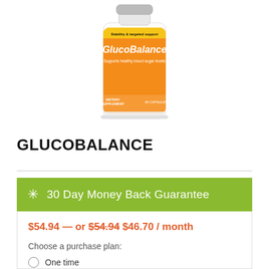[Figure (photo): GlucoBalance dietary supplement bottle with orange label showing 'GlucoBalance', 'Supports healthy blood sugar levels', 'DIETARY SUPPLEMENT', '60 CAPSULES']
GLUCOBALANCE
30 Day Money Back Guarantee
$54.94 — or $54.94 $46.70 / month
Choose a purchase plan:
One time